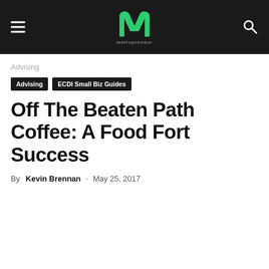metropreneur
Advising
Advising | ECDI Small Biz Guides
Off The Beaten Path Coffee: A Food Fort Success
By Kevin Brennan - May 25, 2017